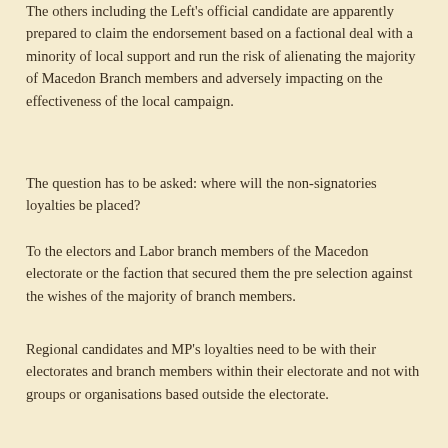The others including the Left's official candidate are apparently prepared to claim the endorsement based on a factional deal with a minority of local support and run the risk of alienating the majority of Macedon Branch members and adversely impacting on the effectiveness of the local campaign.
The question has to be asked: where will the non-signatories loyalties be placed?
To the electors and Labor branch members of the Macedon electorate or the faction that secured them the pre selection against the wishes of the majority of branch members.
Regional candidates and MP's loyalties need to be with their electorates and branch members within their electorate and not with groups or organisations based outside the electorate.